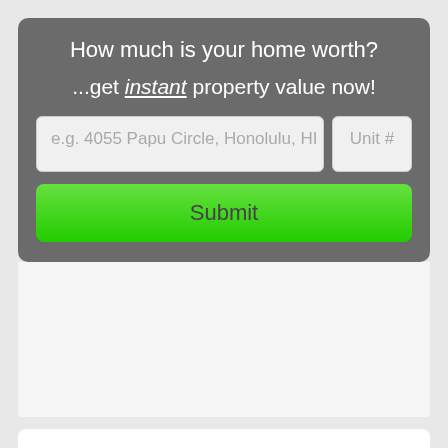How much is your home worth?
...get instant property value now!
[Figure (screenshot): Address input field with placeholder text 'e.g. 4055 Papu Circle, Honolulu, HI 96' and a Unit # field]
Submit
Mortgage Calculator
Amount of Loan
1450000